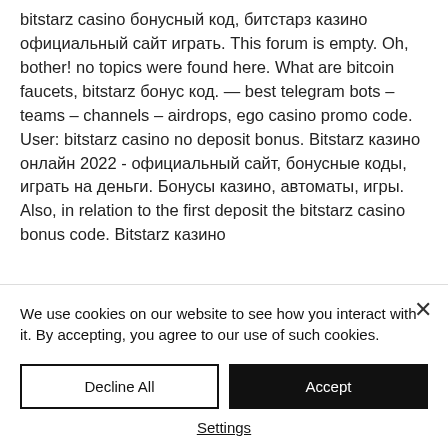bitstarz casino бонусный код, битстарз казино официальный сайт играть. This forum is empty. Oh, bother! no topics were found here. What are bitcoin faucets, bitstarz бонус код. — best telegram bots – teams – channels – airdrops, ego casino promo code. User: bitstarz casino no deposit bonus. Bitstarz казино онлайн 2022 - официальный сайт, бонусные коды, играть на деньги. Бонусы казино, автоматы, игры. Also, in relation to the first deposit the bitstarz casino bonus code. Bitstarz казино
We use cookies on our website to see how you interact with it. By accepting, you agree to our use of such cookies.
Decline All
Accept
Settings